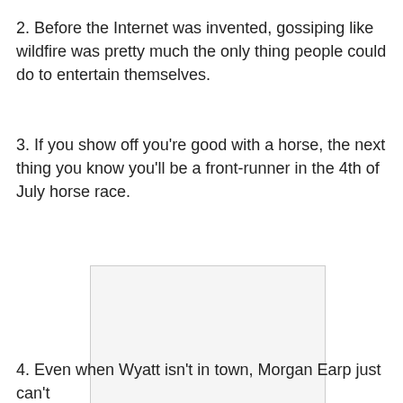2. Before the Internet was invented, gossiping like wildfire was pretty much the only thing people could do to entertain themselves.
3. If you show off you're good with a horse, the next thing you know you'll be a front-runner in the 4th of July horse race.
[Figure (other): A blank or empty image placeholder with a light gray background and border.]
4. Even when Wyatt isn't in town, Morgan Earp just can't